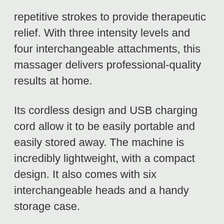repetitive strokes to provide therapeutic relief. With three intensity levels and four interchangeable attachments, this massager delivers professional-quality results at home.
Its cordless design and USB charging cord allow it to be easily portable and easily stored away. The machine is incredibly lightweight, with a compact design. It also comes with six interchangeable heads and a handy storage case.
The homedics therapist select pro percussion massager costco is designed for both home and office use. It features 3 intensity levels and three different massage programs, allowing users to find a comfortable intensity level and target the muscles